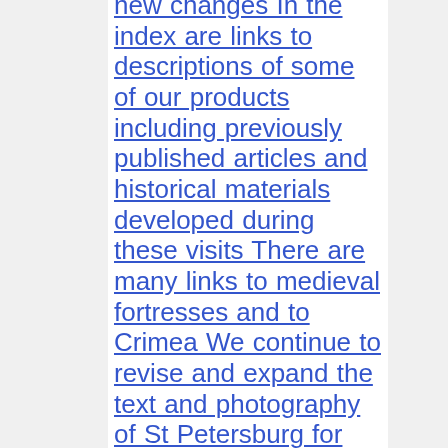new changes In the index are links to descriptions of some of our products including previously published articles and historical materials developed during these visits There are many links to medieval fortresses and to Crimea We continue to revise and expand the text and photography of St Petersburg for which we have a completely revised section including separate sections on Hermitage Peterhof Tsarskoye Selo Gatchina and Pavlovsk palaces We also have text history and many photos of Moscow We are preparing to add pictures and text describing many churches in Moscow We have visited many cities along the Volga river as well as St Petersburg and Moscow These are included in the Russian cities section and many photographs are now at Volga and